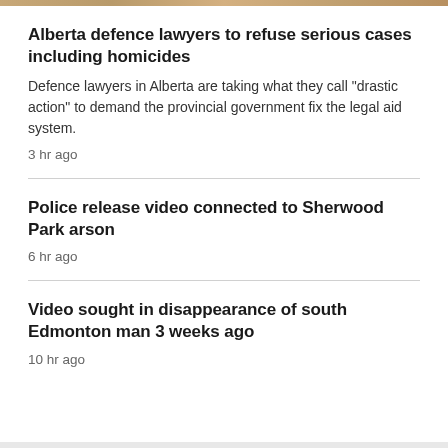Alberta defence lawyers to refuse serious cases including homicides
Defence lawyers in Alberta are taking what they call "drastic action" to demand the provincial government fix the legal aid system.
3 hr ago
Police release video connected to Sherwood Park arson
6 hr ago
Video sought in disappearance of south Edmonton man 3 weeks ago
10 hr ago